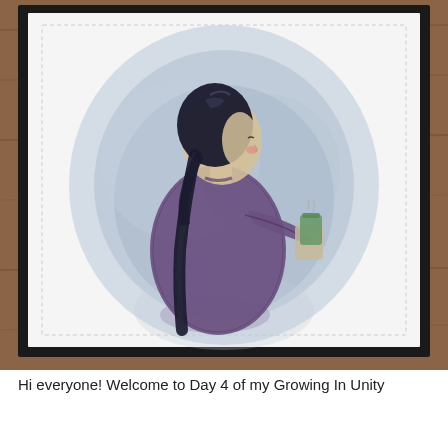[Figure (illustration): A handmade greeting card displayed on a wooden surface. The card features a watercolor illustration of a young woman seen from behind/side, with long dark hair in a braid, wearing a purple cable-knit sweater, holding a green cup or mug. The background behind her is a soft blue-grey watercolor wash. The card has a white stitched/dashed border and is mounted on a black card base.]
Hi everyone! Welcome to Day 4 of my Growing In Unity